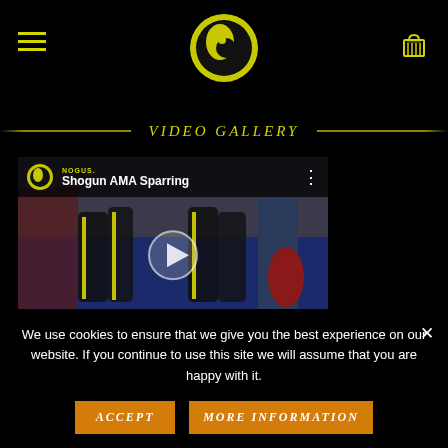[Figure (logo): Black navigation header with hamburger menu icon on left, yellow circular martial arts logo in center, shopping cart icon on right]
VIDEO GALLERY
[Figure (screenshot): YouTube video thumbnail showing 'Shogun AMA Sparring' with martial artists in a gym, black uniforms with yellow stripes, channel logo top left, play button in center]
We use cookies to ensure that we give you the best experience on our website. If you continue to use this site we will assume that you are happy with it.
ACCEPT
MORE INFORMATION